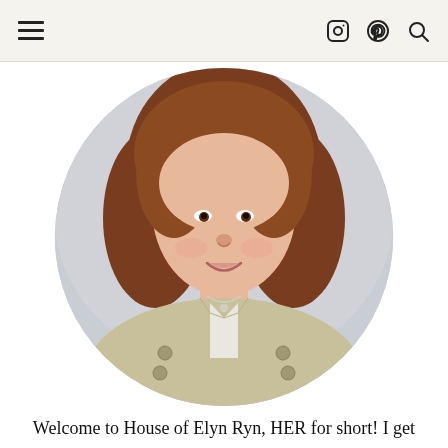≡  [instagram] [pinterest] [search]
[Figure (photo): Circular cropped headshot of a woman with auburn hair, wearing a light beige blazer and a silver necklace, smiling, on a light grey background.]
Welcome to House of Elyn Ryn, HER for short! I get asked how to pronounce the name Elyn Ryn.  Well, it is E-Lynn and then Ryn rhymes with Lynn. Now that we have that out of the way, I am so glad you are here.  I have so many things that inspire me and I will be sharing them here along the way and I hope that